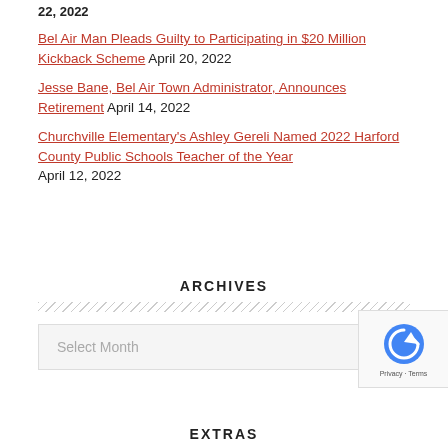22, 2022
Bel Air Man Pleads Guilty to Participating in $20 Million Kickback Scheme April 20, 2022
Jesse Bane, Bel Air Town Administrator, Announces Retirement April 14, 2022
Churchville Elementary's Ashley Gereli Named 2022 Harford County Public Schools Teacher of the Year April 12, 2022
ARCHIVES
Select Month
EXTRAS